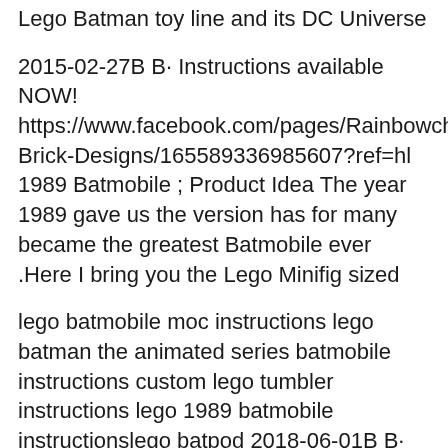Lego Batman toy line and its DC Universe
2015-02-27B B· Instructions available NOW! https://www.facebook.com/pages/Rainbowchilds-Brick-Designs/165589336985607?ref=hl 1989 Batmobile ; Product Idea The year 1989 gave us the version has for many became the greatest Batmobile ever .Here I bring you the Lego Minifig sized
lego batmobile moc instructions lego batman the animated series batmobile instructions custom lego tumbler instructions lego 1989 batmobile instructionslego batpod 2018-06-01B B·